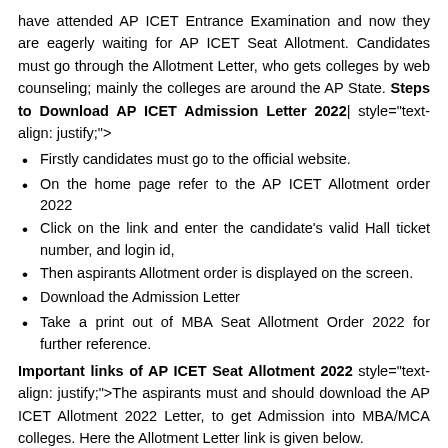have attended AP ICET Entrance Examination and now they are eagerly waiting for AP ICET Seat Allotment. Candidates must go through the Allotment Letter, who gets colleges by web counseling; mainly the colleges are around the AP State. Steps to Download AP ICET Admission Letter 2022| style="text-align: justify;">
Firstly candidates must go to the official website.
On the home page refer to the AP ICET Allotment order 2022
Click on the link and enter the candidate's valid Hall ticket number, and login id,
Then aspirants Allotment order is displayed on the screen.
Download the Admission Letter
Take a print out of MBA Seat Allotment Order 2022 for further reference.
Important links of AP ICET Seat Allotment 2022 style="text-align: justify;">The aspirants must and should download the AP ICET Allotment 2022 Letter, to get Admission into MBA/MCA colleges. Here the Allotment Letter link is given below.